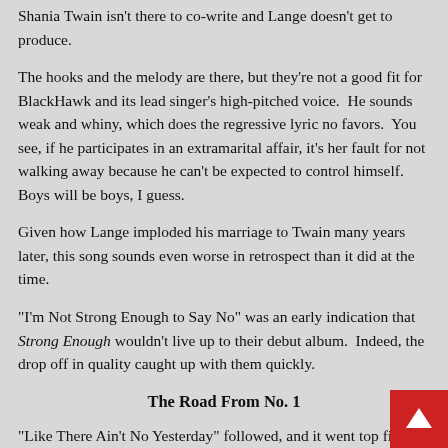Shania Twain isn't there to co-write and Lange doesn't get to produce.
The hooks and the melody are there, but they're not a good fit for BlackHawk and its lead singer's high-pitched voice.  He sounds weak and whiny, which does the regressive lyric no favors.  You see, if he participates in an extramarital affair, it's her fault for not walking away because he can't be expected to control himself.  Boys will be boys, I guess.
Given how Lange imploded his marriage to Twain many years later, this song sounds even worse in retrospect than it did at the time.
“I’m Not Strong Enough to Say No” was an early indication that Strong Enough wouldn’t live up to their debut album.  Indeed, the drop off in quality caught up with them quickly.
The Road From No. 1
“Like There Ain’t No Yesterday” followed, and it went top five…